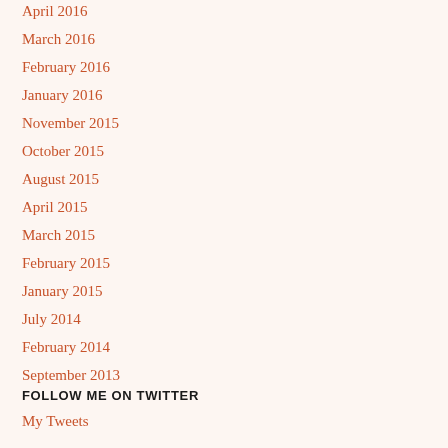April 2016
March 2016
February 2016
January 2016
November 2015
October 2015
August 2015
April 2015
March 2015
February 2015
January 2015
July 2014
February 2014
September 2013
FOLLOW ME ON TWITTER
My Tweets